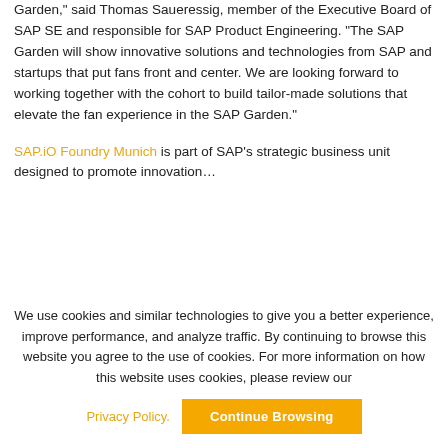Garden," said Thomas Saueressig, member of the Executive Board of SAP SE and responsible for SAP Product Engineering. "The SAP Garden will show innovative solutions and technologies from SAP and startups that put fans front and center. We are looking forward to working together with the cohort to build tailor-made solutions that elevate the fan experience in the SAP Garden."
SAP.iO Foundry Munich is part of SAP's strategic business unit designed to promote innovation...
We use cookies and similar technologies to give you a better experience, improve performance, and analyze traffic. By continuing to browse this website you agree to the use of cookies. For more information on how this website uses cookies, please review our
Privacy Policy. Continue Browsing